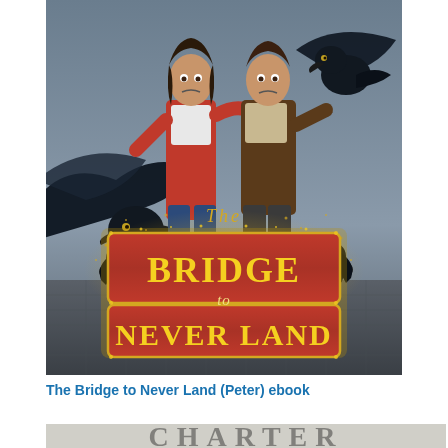[Figure (illustration): Book cover of 'The Bridge to Never Land' showing two teenagers being chased by giant ravens/crows. A large red banner in the center reads 'THE BRIDGE TO NEVER LAND' with decorative golden borders and two ravens flanking the text. The background shows an urban cobblestone street with a dramatic dark sky.]
The Bridge to Never Land (Peter) ebook
[Figure (illustration): Partial view of another book cover, only the top portion visible, showing large stylized text at the bottom of a stone or cracked surface background.]